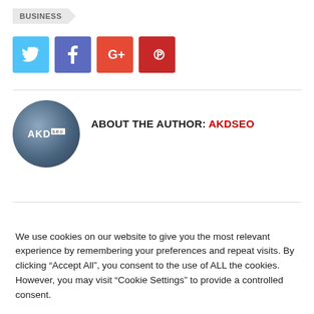BUSINESS
[Figure (other): Social media share buttons: Twitter (blue), Facebook (dark blue/purple), Google+ (red-orange), Pinterest (dark red)]
[Figure (logo): AKDseo circular logo avatar]
ABOUT THE AUTHOR: AKDSEO
We use cookies on our website to give you the most relevant experience by remembering your preferences and repeat visits. By clicking “Accept All”, you consent to the use of ALL the cookies. However, you may visit "Cookie Settings" to provide a controlled consent.